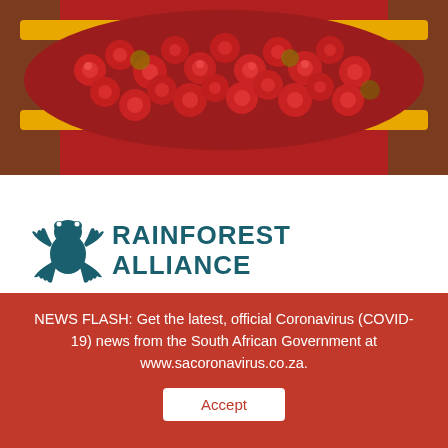[Figure (photo): Person holding a yellow tray/basket filled with red coffee cherries against a red background]
[Figure (logo): Rainforest Alliance logo with frog icon and text RAINFOREST ALLIANCE in dark teal]
NEWS FLASH: Get the latest, official Coronavirus (COVID-19) news from the South African Government at www.sacoronavirus.co.za.
Accept